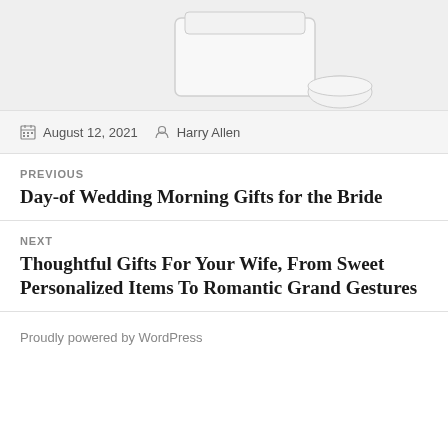[Figure (photo): Partial view of a white jar/container product on a light gray background]
August 12, 2021  Harry Allen
PREVIOUS
Day-of Wedding Morning Gifts for the Bride
NEXT
Thoughtful Gifts For Your Wife, From Sweet Personalized Items To Romantic Grand Gestures
Proudly powered by WordPress